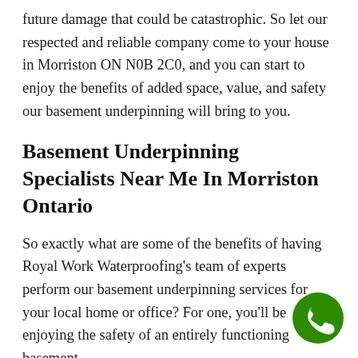future damage that could be catastrophic. So let our respected and reliable company come to your house in Morriston ON N0B 2C0, and you can start to enjoy the benefits of added space, value, and safety our basement underpinning will bring to you.
Basement Underpinning Specialists Near Me In Morriston Ontario
So exactly what are some of the benefits of having Royal Work Waterproofing's team of experts perform our basement underpinning services for your local home or office? For one, you'll be enjoying the safety of an entirely functioning basement
[Figure (illustration): Green circular phone call button with white telephone handset icon]